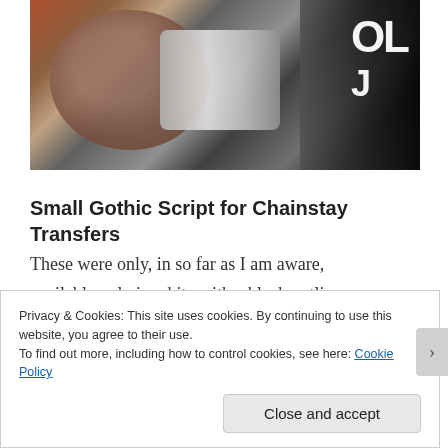[Figure (photo): Close-up photo of bicycle chainstay area showing rocks/stones and chrome metal parts, with dark background and partial text visible on right side]
Small Gothic Script for Chainstay Transfers
These were only, in so far as I am aware, available only in white with a black outline. They were in vogue on the top quality machines from the late 1960s onwards.
Privacy & Cookies: This site uses cookies. By continuing to use this website, you agree to their use.
To find out more, including how to control cookies, see here: Cookie Policy

Close and accept